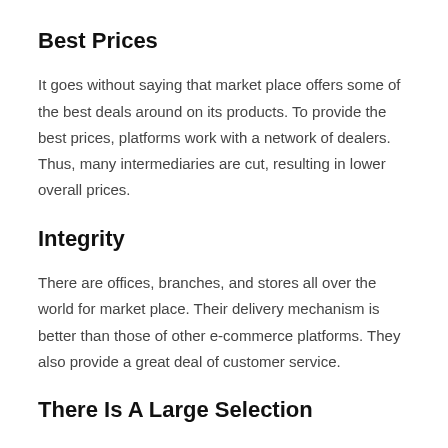Best Prices
It goes without saying that market place offers some of the best deals around on its products. To provide the best prices, platforms work with a network of dealers. Thus, many intermediaries are cut, resulting in lower overall prices.
Integrity
There are offices, branches, and stores all over the world for market place. Their delivery mechanism is better than those of other e-commerce platforms. They also provide a great deal of customer service.
There Is A Large Selection
Both market place's buyer and seller bases are enormous globally.